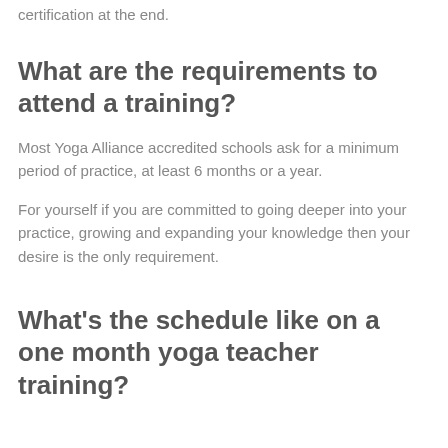certification at the end.
What are the requirements to attend a training?
Most Yoga Alliance accredited schools ask for a minimum period of practice, at least 6 months or a year.
For yourself if you are committed to going deeper into your practice, growing and expanding your knowledge then your desire is the only requirement.
What's the schedule like on a one month yoga teacher training?